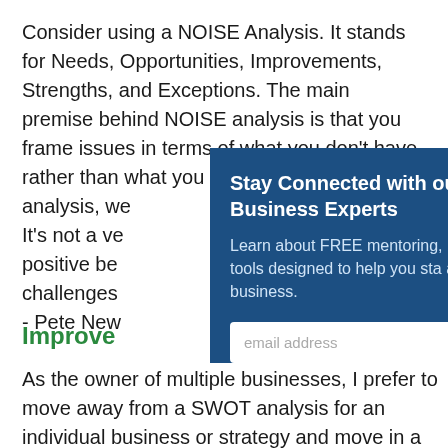Consider using a NOISE Analysis. It stands for Needs, Opportunities, Improvements, Strengths, and Exceptions. The main premise behind NOISE analysis is that you frame issues in terms of what you don't have rather than what you need to do. In NOISE analysis, we… It's not a ve… positive be… challenges…
- Pete New…
[Figure (other): A modal popup overlay with dark blue background titled 'Stay Connected with our Phoenix Business Experts', containing text about FREE mentoring, business webinars & tools, an email address input field, and a SUBMIT button.]
Improve
As the owner of multiple businesses, I prefer to move away from a SWOT analysis for an individual business or strategy and move in a more people-focused direction. The first step is a simple list based on…